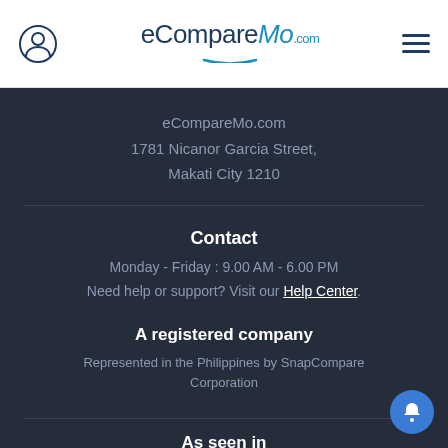eCompareMo.com
eCompareMo.com
1781 Nicanor Garcia Street,
Makati City 1210
Contact
Monday - Friday : 9.00 AM - 6.00 PM
Need help or support? Visit our Help Center.
A registered company
Represented in the Philippines by SnapCompare Corporation
As seen in